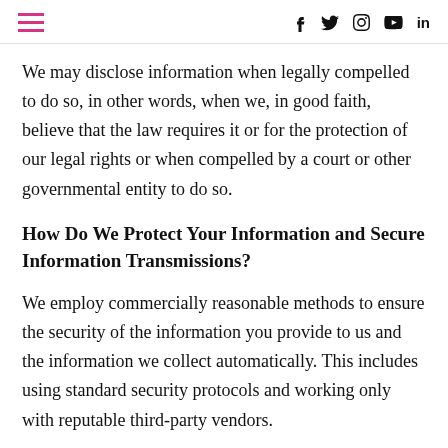Navigation and social icons header
We may disclose information when legally compelled to do so, in other words, when we, in good faith, believe that the law requires it or for the protection of our legal rights or when compelled by a court or other governmental entity to do so.
How Do We Protect Your Information and Secure Information Transmissions?
We employ commercially reasonable methods to ensure the security of the information you provide to us and the information we collect automatically. This includes using standard security protocols and working only with reputable third-party vendors.